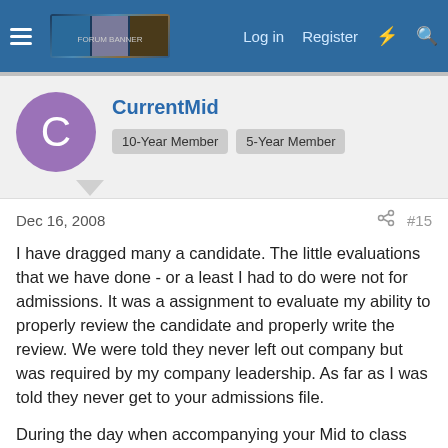Log in  Register
CurrentMid
10-Year Member   5-Year Member
Dec 16, 2008  #15
I have dragged many a candidate. The little evaluations that we have done - or a least I had to do were not for admissions. It was a assignment to evaluate my ability to properly review the candidate and properly write the review. We were told they never left out company but was required by my company leadership. As far as I was told they never get to your admissions file.
During the day when accompanying your Mid to class Khakis or nice jeans are fine. Try to fit in and look nice as your hosts are in uniform or working blues. In the evening in hall jeans are perfectly acceptable. I would never comment in a review on attire unless it was tasteless and inappropriate - statement